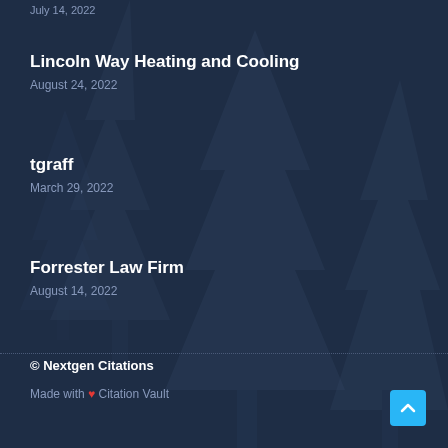July 14, 2022
Lincoln Way Heating and Cooling
August 24, 2022
tgraff
March 29, 2022
Forrester Law Firm
August 14, 2022
© Nextgen Citations
Made with ❤ Citation Vault